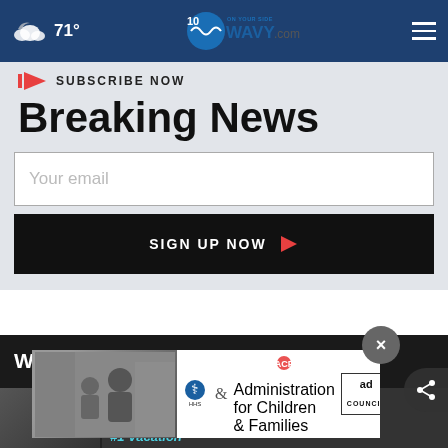71° WAVY.com
SUBSCRIBE NOW
Breaking News
Your email
SIGN UP NOW
WAVY.com Video
[Figure (screenshot): Advertisement banner with ACF and Ad Council logos, showing a child with an adult.]
[Figure (screenshot): Close (X) button overlay on video section]
[Figure (screenshot): Share button on right side]